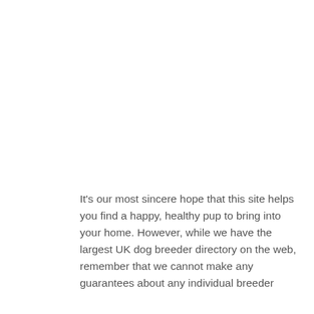It's our most sincere hope that this site helps you find a happy, healthy pup to bring into your home. However, while we have the largest UK dog breeder directory on the web, remember that we cannot make any guarantees about any individual breeder